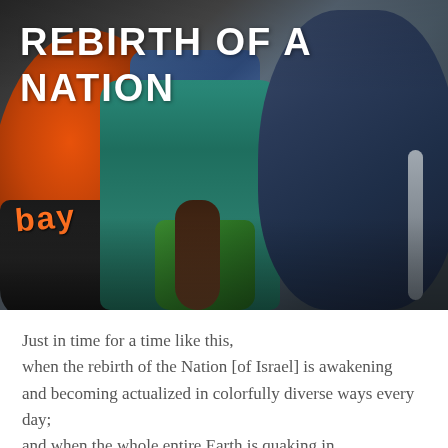[Figure (photo): Photo of children with backpacks: a colorful orange backpack on the left with 'bay' text, a person in a teal/green top in the center holding a green bag, and a navy blue backpack on the right. Title 'REBIRTH OF A NATION' overlaid in white uppercase text at the top.]
REBIRTH OF A NATION
Just in time for a time like this,
when the rebirth of the Nation [of Israel] is awakening
and becoming actualized in colorfully diverse ways every day;
and when the whole entire Earth is quaking in